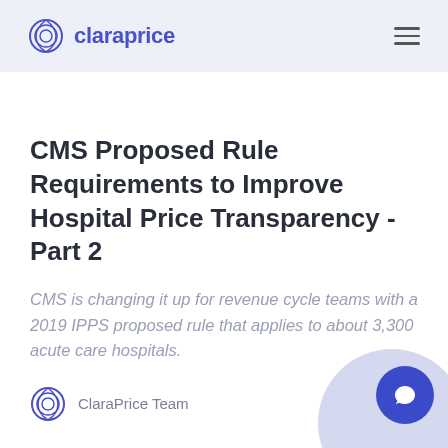claraprice
CMS Proposed Rule Requirements to Improve Hospital Price Transparency - Part 2
CMS is changing it up for revenue cycle teams with a 2019 IPPS proposed rule that applies to about 3,300 acute care hospitals.
ClaraPrice Team